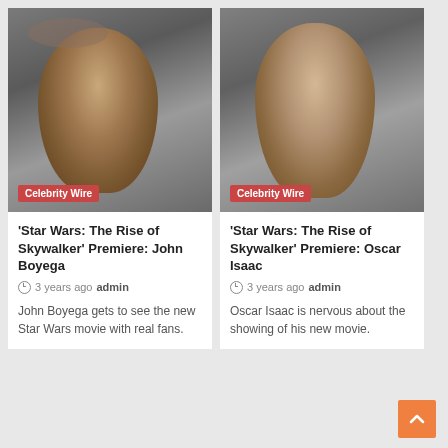[Figure (photo): John Boyega at a Star Wars premiere event, with Celebrity Wire badge overlay]
[Figure (photo): Oscar Isaac at a Star Wars premiere event, with Celebrity Wire badge overlay]
'Star Wars: The Rise of Skywalker' Premiere: John Boyega
3 years ago  admin
John Boyega gets to see the new Star Wars movie with real fans.
'Star Wars: The Rise of Skywalker' Premiere: Oscar Isaac
3 years ago  admin
Oscar Isaac is nervous about the showing of his new movie.